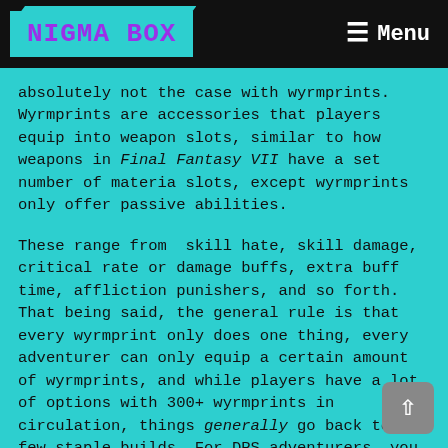NIGMA BOX | Menu
absolutely not the case with wyrmprints. Wyrmprints are accessories that players equip into weapon slots, similar to how weapons in Final Fantasy VII have a set number of materia slots, except wyrmprints only offer passive abilities.
These range from  skill hate, skill damage, critical rate or damage buffs, extra buff time, affliction punishers, and so forth. That being said, the general rule is that every wyrmprint only does one thing, every adventurer can only equip a certain amount of wyrmprints, and while players have a lot of options with 300+ wyrmprints in circulation, things generally go back to a few staple builds. For DPS adventurers, you want to increase their strength, skill damage, and give them affliction punishers. While buffers and DPS units work best with skill haste, buff time, and one recovery potency wyrmprint.